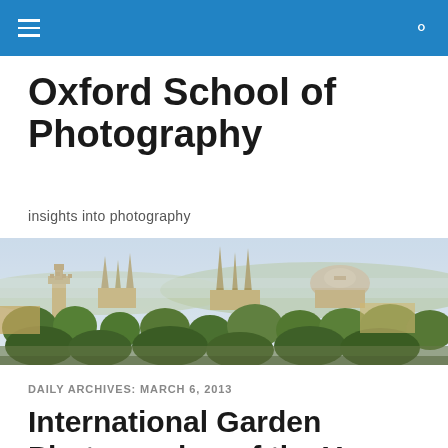Oxford School of Photography – navigation bar
Oxford School of Photography
insights into photography
[Figure (photo): Panoramic view of Oxford city skyline showing historic spires, towers, domed buildings, and trees under a pale blue hazy sky.]
DAILY ARCHIVES: MARCH 6, 2013
International Garden Photographer of the Year 2013